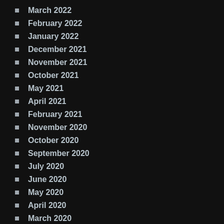March 2022
February 2022
January 2022
December 2021
November 2021
October 2021
May 2021
April 2021
February 2021
November 2020
October 2020
September 2020
July 2020
June 2020
May 2020
April 2020
March 2020
February 2020
November 2019
September 2019
March 2019